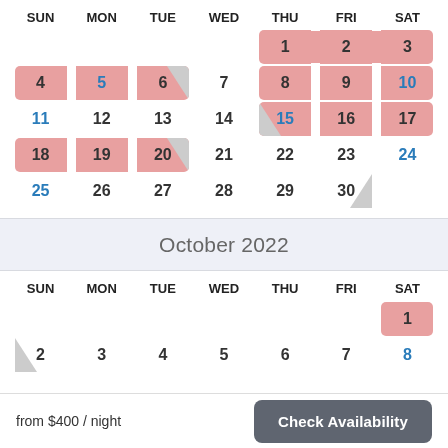[Figure (other): Booking calendar for September 2022 showing availability. Highlighted (pink) dates indicate booked/unavailable dates. Days of week headers: SUN MON TUE WED THU FRI SAT. Dates 1-2 (Thu-Fri) pink in first row, 4-5 (pink) 6 gray-cut, 8-10 (8-9 pink 10 blue), 15 gray-cut 16-17 pink, 18-19 pink 20 gray-cut, 25-30 last row with 30 gray-cut.]
October 2022
[Figure (other): Booking calendar for October 2022. Headers SUN MON TUE WED THU FRI SAT. SAT 1 pink. Row 2-8 with 2 gray-cut, 8 blue.]
from $400 / night
Check Availability